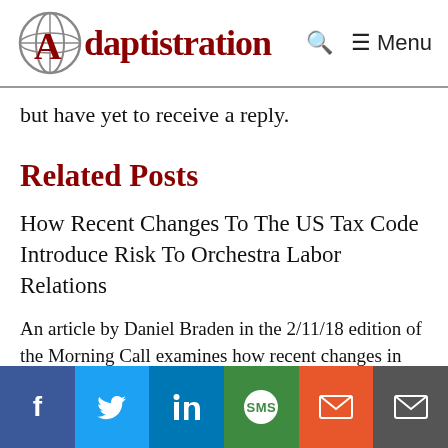Adaptistration | Menu
but have yet to receive a reply.
Related Posts
How Recent Changes To The US Tax Code Introduce Risk To Orchestra Labor Relations
An article by Daniel Braden in the 2/11/18 edition of the Morning Call examines how recent changes in the US tax code will have…
f | Twitter | in | SMS | Mail | Forward